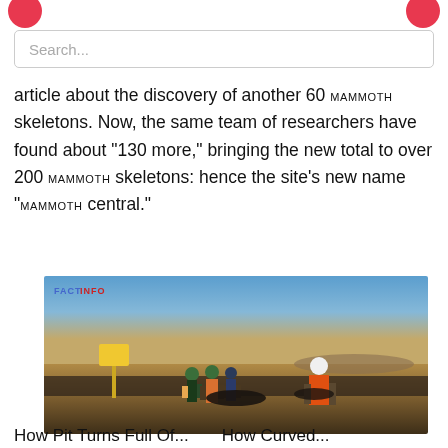article about the discovery of another 60 MAMMOTH skeletons. Now, the same team of researchers have found about "130 more," bringing the new total to over 200 MAMMOTH skeletons: hence the site's new name "MAMMOTH central."
[Figure (photo): Photograph of several researchers/workers in safety gear standing in a large open excavation site or flat terrain with a blue sky background, with a FACT INFO watermark in the upper left corner.]
How Pit Turns Full Of...    How Curved...